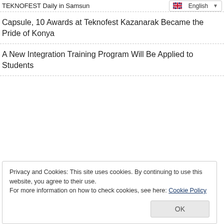TEKNOFEST Daily in Samsun
Capsule, 10 Awards at Teknofest Kazanarak Became the Pride of Konya
A New Integration Training Program Will Be Applied to Students
Privacy and Cookies: This site uses cookies. By continuing to use this website, you agree to their use.
For more information on how to check cookies, see here: Cookie Policy